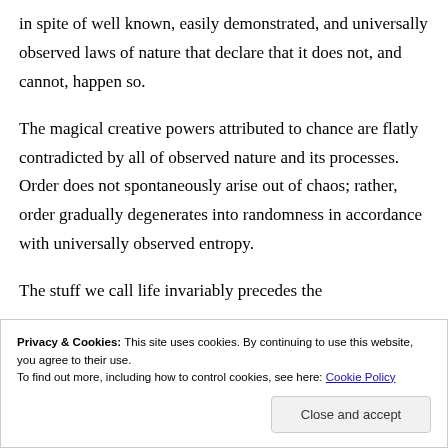in spite of well known, easily demonstrated, and universally observed laws of nature that declare that it does not, and cannot, happen so.
The magical creative powers attributed to chance are flatly contradicted by all of observed nature and its processes. Order does not spontaneously arise out of chaos; rather, order gradually degenerates into randomness in accordance with universally observed entropy.
The stuff we call life invariably precedes the chemistry of a dead thing does not
Privacy & Cookies: This site uses cookies. By continuing to use this website, you agree to their use.
To find out more, including how to control cookies, see here: Cookie Policy